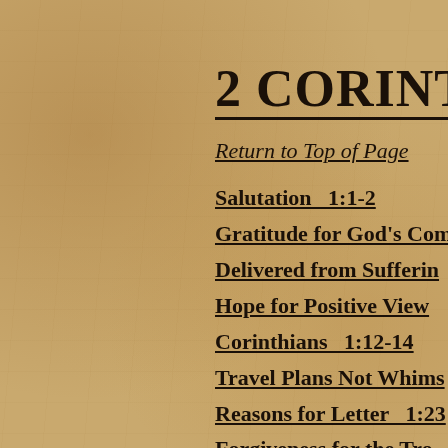2 CORINTH
Return to Top of Page
Salutation   1:1-2
Gratitude for God's Com
Delivered from Sufferin
Hope for Positive View
Corinthians   1:12-14
Travel Plans Not Whims
Reasons for Letter   1:23
Forgiveness for the Tro